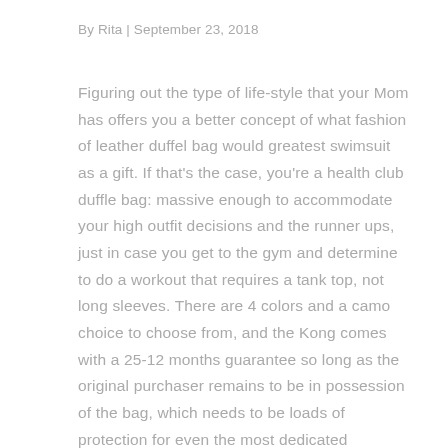By Rita | September 23, 2018
Figuring out the type of life-style that your Mom has offers you a better concept of what fashion of leather duffel bag would greatest swimsuit as a gift. If that's the case, you're a health club duffle bag: massive enough to accommodate your high outfit decisions and the runner ups, just in case you get to the gym and determine to do a workout that requires a tank top, not long sleeves. There are 4 colors and a camo choice to choose from, and the Kong comes with a 25-12 months guarantee so long as the original purchaser remains to be in possession of the bag, which needs to be loads of protection for even the most dedicated gymnasium buff. View all gymnasium equipment Protecting match is tough at the most effective of instances so make it simpler to organise your whole fitness gear by selecting from our nice selection of